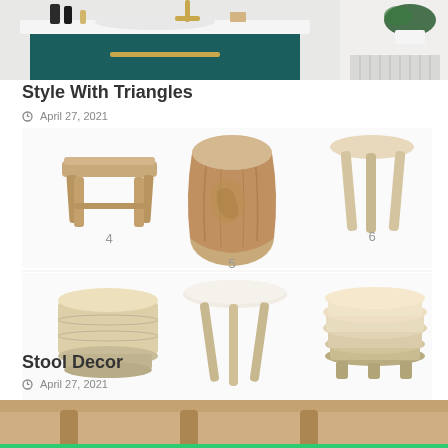[Figure (photo): Bathroom vanity with teal/dark green drawer front, gold hardware and brass faucet, white top, decorative bottles, and a plant on the right side.]
Style With Triangles
April 27, 2021
[Figure (photo): Six wooden stools arranged in a 2-row grid. Top row: item 4 (rectangular flat-top stool with legs), item 5 (barrel/drum shaped natural wood stool), item 6 (three-legged stool with round top). Bottom row: three more stools - a squat cylindrical pale wood stool, a round-top three-legged stool, and a stacked ring pale wood stool.]
Stool Decor
April 27, 2021
[Figure (photo): Partial bottom image showing furniture/decor items in warm tones, cropped at page bottom.]